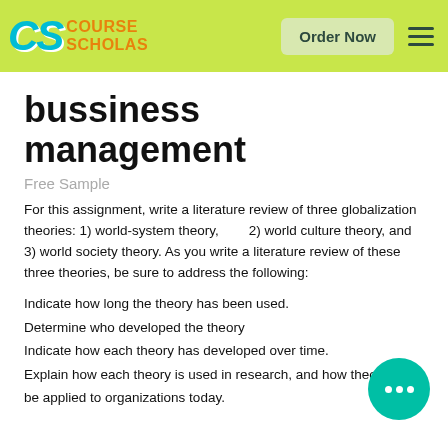CS Course Scholars — Order Now
bussiness management
Free Sample
For this assignment, write a literature review of three globalization theories: 1) world-system theory, 2) world culture theory, and 3) world society theory. As you write a literature review of these three theories, be sure to address the following:
Indicate how long the theory has been used.
Determine who developed the theory
Indicate how each theory has developed over time.
Explain how each theory is used in research, and how theory can be applied to organizations today.